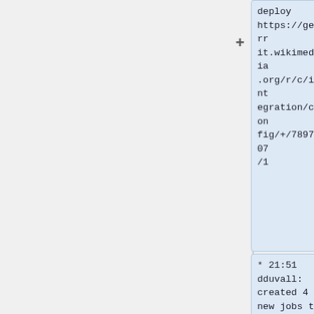deploy https://gerrit.wikimedia.org/r/c/integration/config/+/789707/1
* 21:51 dduvall: created 4 new jobs to deploy https://gerrit.wikimedia.org/r/c/integration/config/+/789706
* 21:48 dduvall: Reloading Zuul to